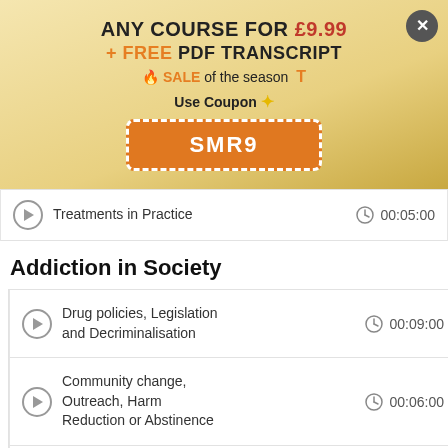[Figure (infographic): Promotional banner: ANY COURSE FOR £9.99 + FREE PDF TRANSCRIPT, SALE of the season, Use Coupon, SMR9 coupon code button, with close (X) button]
Treatments in Practice   00:05:00
Addiction in Society
Drug policies, Legislation and Decriminalisation   00:09:00
Community change, Outreach, Harm Reduction or Abstinence   00:06:00
Alcohol and Drug education   00:06:00